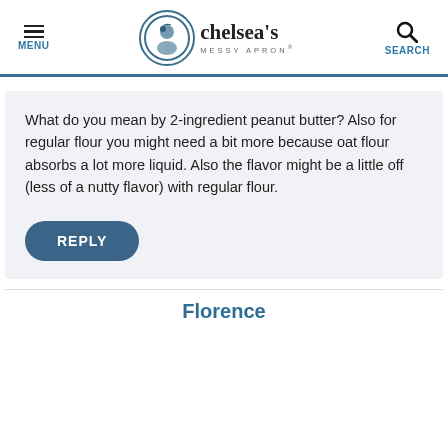MENU | chelsea's MESSY APRON® | SEARCH
What do you mean by 2-ingredient peanut butter? Also for regular flour you might need a bit more because oat flour absorbs a lot more liquid. Also the flavor might be a little off (less of a nutty flavor) with regular flour.
REPLY
Florence